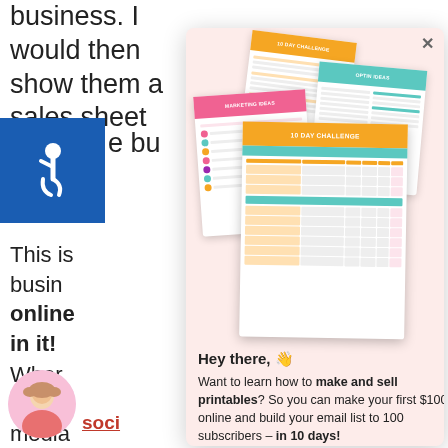business. I would then show them a sales sheet
[Figure (screenshot): Accessibility wheelchair icon on blue background]
e bu
This is
busine
online
in it!
Whem
passic
media
[Figure (infographic): Popup modal with pink background showing product sheets/printables: 10 Day Challenge, Optin Ideas, Marketing Ideas cards, with greeting text below]
Hey there, 👋
Want to learn how to make and sell printables? So you can make your first $100 online and build your email list to 100 subscribers – in 10 days!
[Figure (photo): Circular profile photo of a woman with blonde hair]
soci